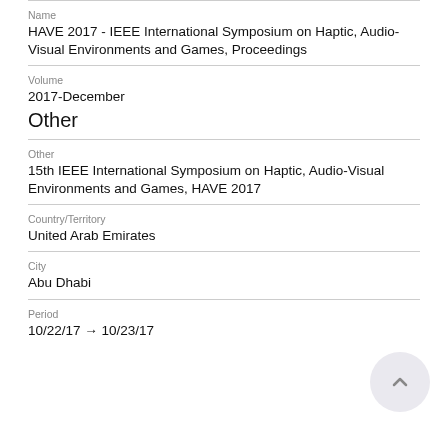Name
HAVE 2017 - IEEE International Symposium on Haptic, Audio-Visual Environments and Games, Proceedings
Volume
2017-December
Other
Other
15th IEEE International Symposium on Haptic, Audio-Visual Environments and Games, HAVE 2017
Country/Territory
United Arab Emirates
City
Abu Dhabi
Period
10/22/17 → 10/23/17